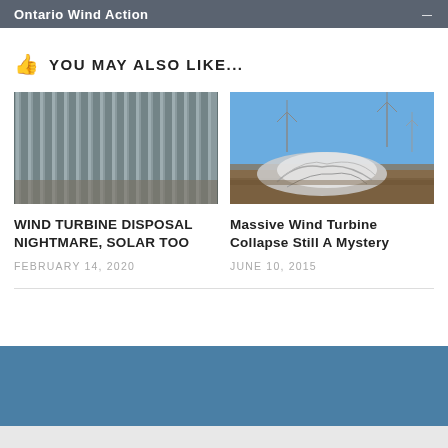Ontario Wind Action
YOU MAY ALSO LIKE...
[Figure (photo): Rows of corrugated metal solar panels or wind turbine blades stored vertically in a warehouse or industrial setting]
[Figure (photo): Collapsed wind turbine wrapped in plastic sheeting lying on moorland with other turbines in background under blue sky]
WIND TURBINE DISPOSAL NIGHTMARE, SOLAR TOO
FEBRUARY 14, 2020
Massive Wind Turbine Collapse Still A Mystery
JUNE 10, 2015